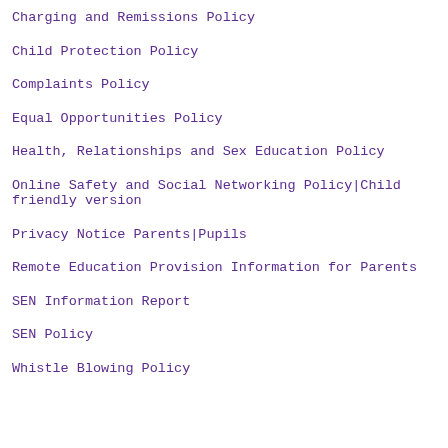Charging and Remissions Policy
Child Protection Policy
Complaints Policy
Equal Opportunities Policy
Health, Relationships and Sex Education Policy
Online Safety and Social Networking Policy|Child friendly version
Privacy Notice Parents|Pupils
Remote Education Provision Information for Parents
SEN Information Report
SEN Policy
Whistle Blowing Policy